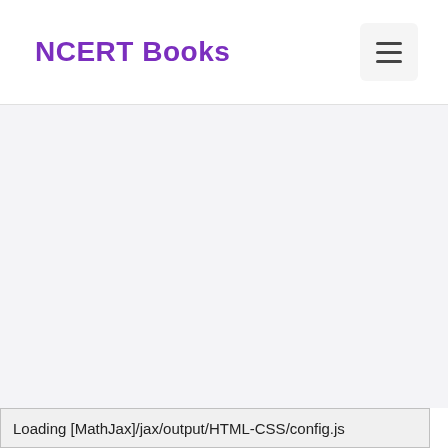NCERT Books
Loading [MathJax]/jax/output/HTML-CSS/config.js